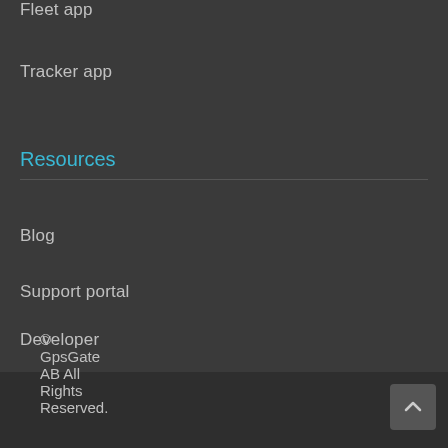Fleet app
Tracker app
Resources
Blog
Support portal
Developer
© GpsGate AB All Rights Reserved.